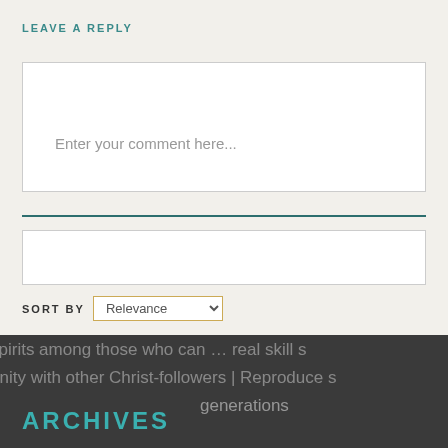LEAVE A REPLY
Enter your comment here...
Search ...
SORT BY Relevance
unity with other Christ-followers | Reproduce s generations
ARCHIVES